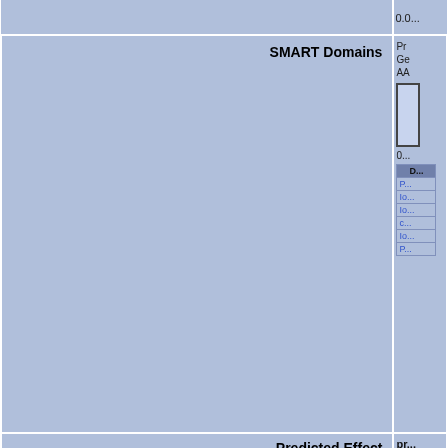|  | 0.0... |
| SMART Domains | Protein info
Ge...
AA...
[vis box]
0...
D...
P...
Io...
Io...
c...
Io...
P... |
| Predicted Effect | pr...
Tra... |
| SMART Domains | Pr... |